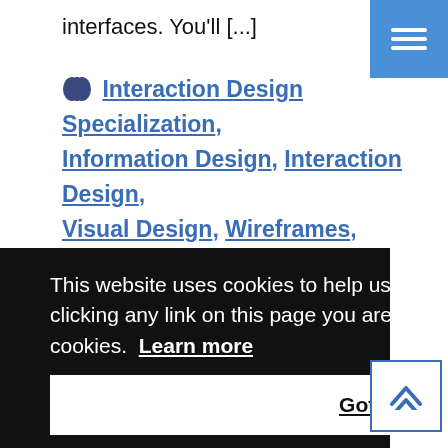interfaces. You'll [...]
Interaction Design Specialization, Information Design, Interaction Design, Visual Design, Wireframes, Mockup, User Interface, Responsive Design, Information Architecture, Interface,
This website uses cookies to help us provide you a better experience. By clicking any link on this page you are giving your consent for us to set cookies. Learn more
Got it!
Health for All